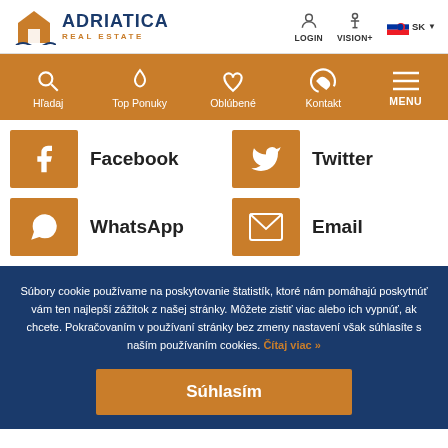[Figure (logo): Adriatica Real Estate logo with house icon and waves]
[Figure (infographic): Navigation header with LOGIN, VISION+, SK language selector]
[Figure (infographic): Orange navigation bar with Hľadaj, Top Ponuky, Oblúbené, Kontakt, MENU icons]
Facebook
Twitter
WhatsApp
Email
Súbory cookie používame na poskytovanie štatistík, ktoré nám pomáhajú poskytnúť vám ten najlepší zážitok z našej stránky. Môžete zistiť viac alebo ich vypnúť, ak chcete. Pokračovaním v používaní stránky bez zmeny nastavení však súhlasíte s naším používaním cookies. Čítaj viac »
Súhlasím